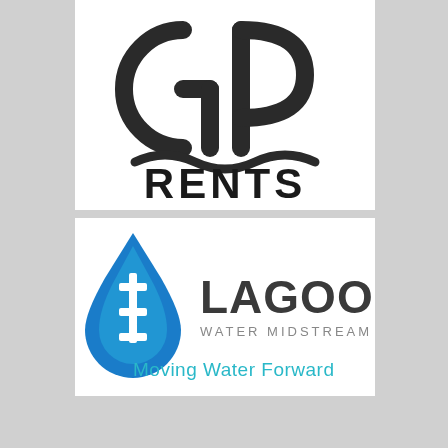[Figure (logo): GP Rents logo — stylized GP letters in dark charcoal above a wavy underline and the word RENTS in bold block letters]
[Figure (logo): Lagoon Water Midstream logo — blue water drop with pipe fittings icon on left, LAGOON in large dark text, WATER MIDSTREAM in smaller grey text, Moving Water Forward tagline in teal below]